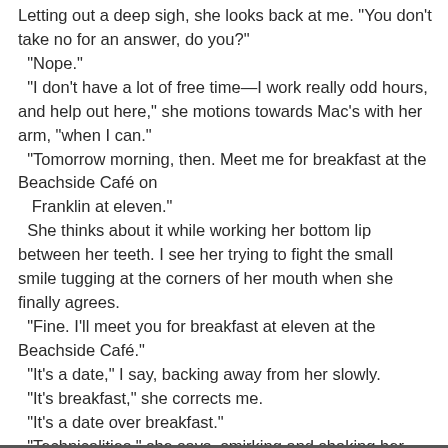Letting out a deep sigh, she looks back at me. "You don't take no for an answer, do you?"
  "Nope."
  "I don't have a lot of free time—I work really odd hours, and help out here," she motions towards Mac's with her arm, "when I can."
  "Tomorrow morning, then. Meet me for breakfast at the Beachside Café on
  Franklin at eleven."
  She thinks about it while working her bottom lip between her teeth. I see her trying to fight the small smile tugging at the corners of her mouth when she finally agrees.
  "Fine. I'll meet you for breakfast at eleven at the Beachside Café."
  "It's a date," I say, backing away from her slowly.
  "It's breakfast," she corrects me.
  "It's a date over breakfast."
  "Technicalities," she says, smirking and shaking her head as she walks backward towards her car.